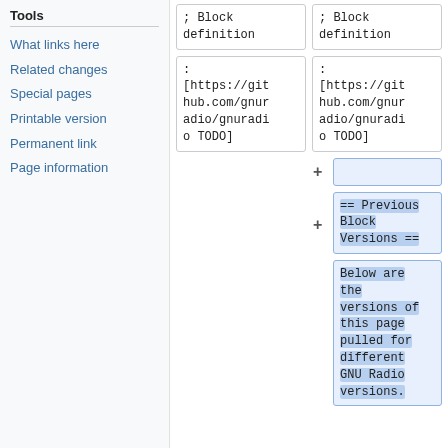Tools
What links here
Related changes
Special pages
Printable version
Permanent link
Page information
; Block definition
; Block definition
: [https://github.com/gnuradio/gnuradio TODO]
: [https://github.com/gnuradio/gnuradio TODO]
== Previous Block Versions ==
Below are the versions of this page pulled for different GNU Radio versions.